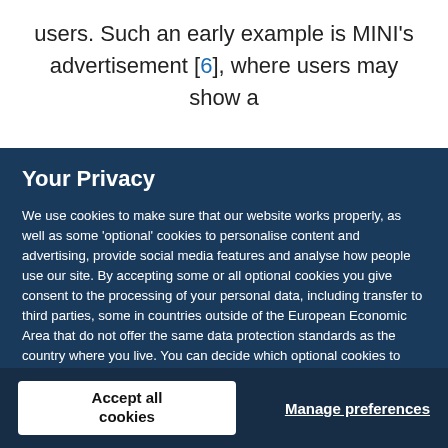users. Such an early example is MINI's advertisement [6], where users may show a
Your Privacy
We use cookies to make sure that our website works properly, as well as some ‘optional’ cookies to personalise content and advertising, provide social media features and analyse how people use our site. By accepting some or all optional cookies you give consent to the processing of your personal data, including transfer to third parties, some in countries outside of the European Economic Area that do not offer the same data protection standards as the country where you live. You can decide which optional cookies to accept by clicking on ‘Manage Settings’, where you can also find more information about how your personal data is processed. Further information can be found in our privacy policy.
Accept all cookies
Manage preferences